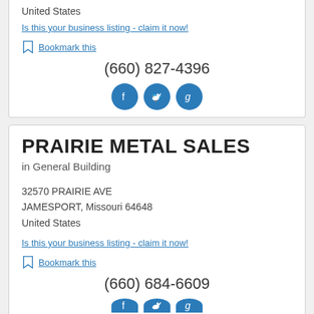United States
Is this your business listing - claim it now!
Bookmark this
(660) 827-4396
[Figure (infographic): Social media icons: Facebook, Twitter, Google+]
PRAIRIE METAL SALES
in General Building
32570 PRAIRIE AVE
JAMESPORT, Missouri 64648
United States
Is this your business listing - claim it now!
Bookmark this
(660) 684-6609
[Figure (infographic): Social media icons (partial): Facebook, Twitter, Google+]